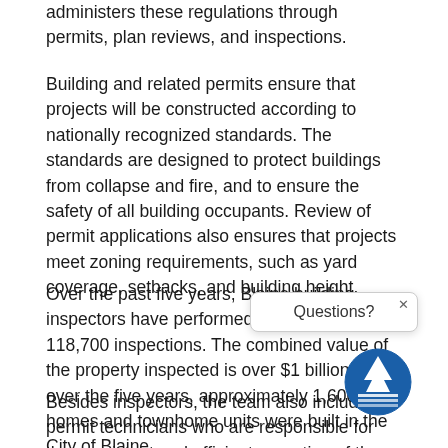administers these regulations through permits, plan reviews, and inspections.
Building and related permits ensure that projects will be constructed according to nationally recognized standards. The standards are designed to protect buildings from collapse and fire, and to ensure the safety of all building occupants. Review of permit applications also ensures that projects meet zoning requirements, such as yard coverage, setbacks, and building height.
Over the past five years, Blaine building inspectors have performed approximately 118,700 inspections. The combined value of the property inspected is over $1 billion. Also, over the five years, approximately 1,600 new homes and townhome units were built in the City of Blaine.
Besides inspectors, the team also includes permit technicians who are responsible for the consistent and efficient operation of the front